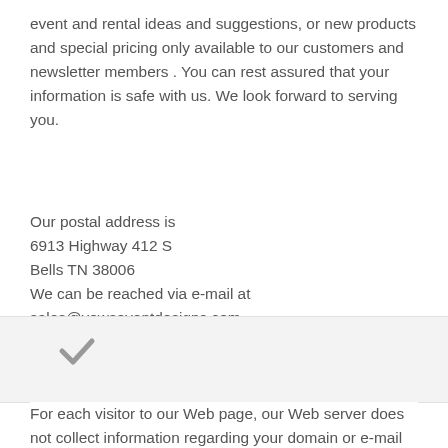event and rental ideas and suggestions, or new products and special pricing only available to our customers and newsletter members . You can rest assured that your information is safe with us. We look forward to serving you.
Our postal address is
6913 Highway 412 S
Bells TN 38006
We can be reached via e-mail at
sales@vowseventdesigns.com
or you can reach us by telephone at 731-694-0550
[Figure (other): A checkmark symbol (tick mark) in grey]
For each visitor to our Web page, our Web server does not collect information regarding your domain or e-mail address. We do not collect information on consumers who